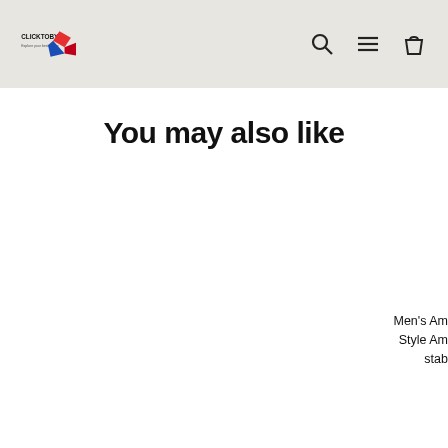CLICKTOBY [logo with navigation icons: search, menu, cart]
You may also like
Men's Am Style Am stab